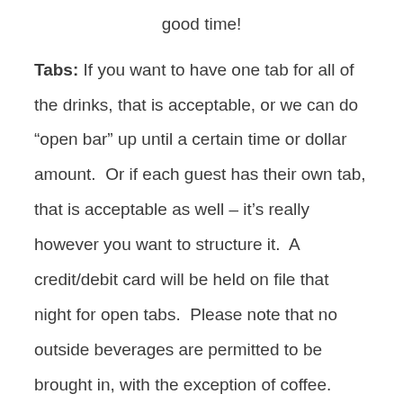good time!
Tabs: If you want to have one tab for all of the drinks, that is acceptable, or we can do “open bar” up until a certain time or dollar amount.  Or if each guest has their own tab, that is acceptable as well – it’s really however you want to structure it.  A credit/debit card will be held on file that night for open tabs.  Please note that no outside beverages are permitted to be brought in, with the exception of coffee. Alcohol, and soda/tea/lemonade will need to be purchased at the brewery.
Food: You’re welcome to bring food from home or get food